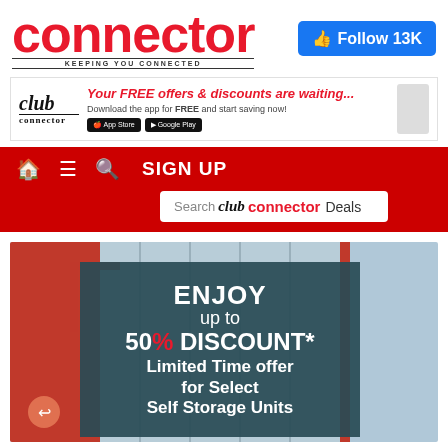[Figure (logo): Connector magazine logo in red with tagline KEEPING YOU CONNECTED, and Facebook Follow 13K button]
[Figure (infographic): Club Connector banner ad: Your FREE offers & discounts are waiting... Download the app for FREE and start saving now! App Store and Google Play buttons, phone image on right]
[Figure (screenshot): Red navigation bar with home, menu, search icons and SIGN UP text, plus Search club connector Deals search bar]
[Figure (photo): Self storage units promo image with overlay text: ENJOY up to 50% DISCOUNT* Limited Time offer for Select Self Storage Units, with share button]